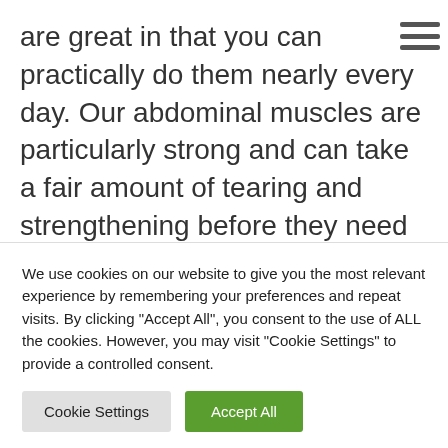are great in that you can practically do them nearly every day. Our abdominal muscles are particularly strong and can take a fair amount of tearing and strengthening before they need to rest and heal.
So, today we're going to focus on strengthening your core muscles. These muscles include your
We use cookies on our website to give you the most relevant experience by remembering your preferences and repeat visits. By clicking "Accept All", you consent to the use of ALL the cookies. However, you may visit "Cookie Settings" to provide a controlled consent.